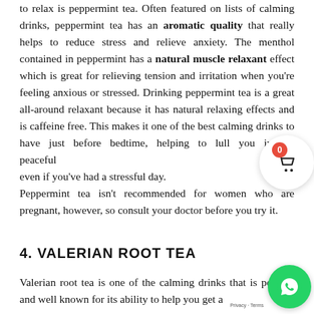to relax is peppermint tea. Often featured on lists of calming drinks, peppermint tea has an aromatic quality that really helps to reduce stress and relieve anxiety. The menthol contained in peppermint has a natural muscle relaxant effect which is great for relieving tension and irritation when you're feeling anxious or stressed. Drinking peppermint tea is a great all-around relaxant because it has natural relaxing effects and is caffeine free. This makes it one of the best calming drinks to have just before bedtime, helping to lull you into a peaceful even if you've had a stressful day. Peppermint tea isn't recommended for women who are pregnant, however, so consult your doctor before you try it.
4. VALERIAN ROOT TEA
Valerian root tea is one of the calming drinks that is popular and well known for its ability to help you get a